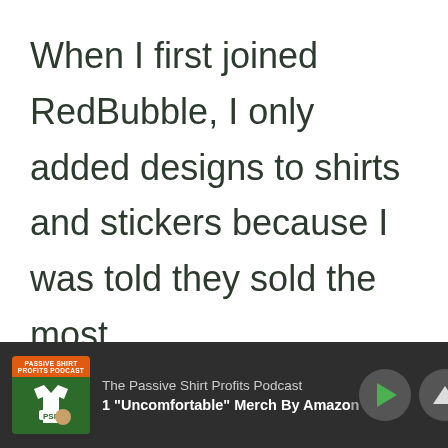When I first joined RedBubble, I only added designs to shirts and stickers because I was told they sold the most.

I really didn't expect to sell any other products, but RedBubble proved me wrong.
[Figure (screenshot): Podcast player footer bar for 'The Passive Shirt Profits Podcast' showing episode about 'Uncomfortable' Merch By Amazon, with play and skip controls on dark background.]